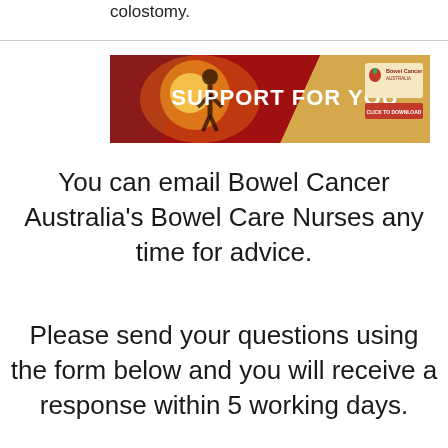colostomy.
[Figure (illustration): Bowel Cancer Australia banner advertisement with text 'SUPPORT FOR YOU' and 'CLICK TO DOWNLOAD' button, featuring a red and warm-toned background with a person silhouette and Bowel Cancer Australia logo.]
You can email Bowel Cancer Australia's Bowel Care Nurses any time for advice.
Please send your questions using the form below and you will receive a response within 5 working days.